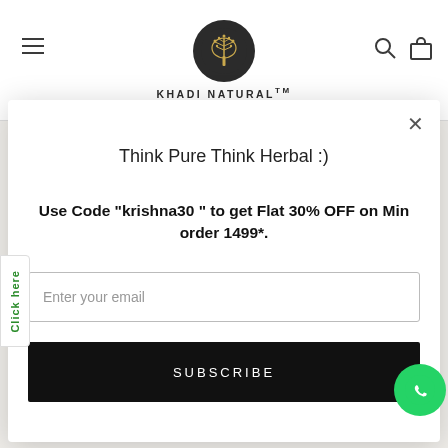KHADI NATURAL
How to use
Massage:
Think Pure Think Herbal :)
Use Code "krishna30 " to get Flat 30% OFF on Min order 1499*.
Enter your email
SUBSCRIBE
Click here